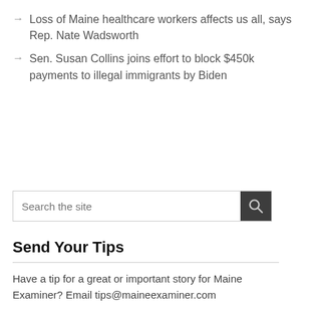Loss of Maine healthcare workers affects us all, says Rep. Nate Wadsworth
Sen. Susan Collins joins effort to block $450k payments to illegal immigrants by Biden
Send Your Tips
Have a tip for a great or important story for Maine Examiner? Email tips@maineexaminer.com